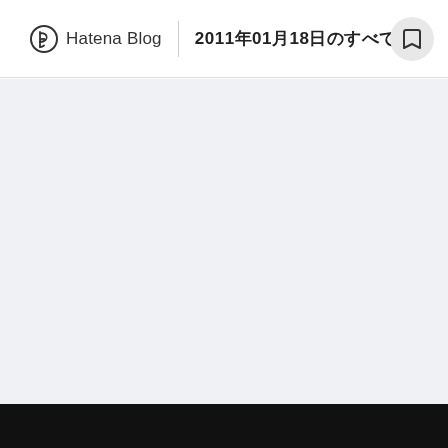Hatena Blog  2011年01月18日のすべての記事
[Figure (screenshot): Empty light gray content area below the Hatena Blog header navigation]